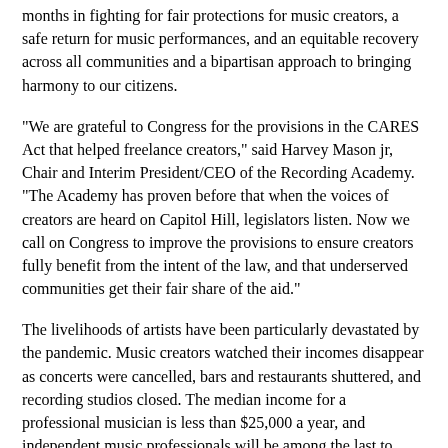months in fighting for fair protections for music creators, a safe return for music performances, and an equitable recovery across all communities and a bipartisan approach to bringing harmony to our citizens.
"We are grateful to Congress for the provisions in the CARES Act that helped freelance creators," said Harvey Mason jr, Chair and Interim President/CEO of the Recording Academy. "The Academy has proven before that when the voices of creators are heard on Capitol Hill, legislators listen. Now we call on Congress to improve the provisions to ensure creators fully benefit from the intent of the law, and that underserved communities get their fair share of the aid."
The livelihoods of artists have been particularly devastated by the pandemic. Music creators watched their incomes disappear as concerts were cancelled, bars and restaurants shuttered, and recording studios closed. The median income for a professional musician is less than $25,000 a year, and independent music professionals will be among the last to return to work as the nation gradually reopens. Data also shows that black-owned businesses and workers are not benefitting equally in the recovery, and this disparity must also be addressed.